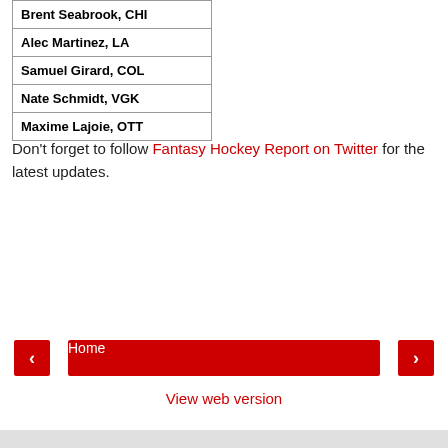| Brent Seabrook, CHI |
| Alec Martinez, LA |
| Samuel Girard, COL |
| Nate Schmidt, VGK |
| Maxime Lajoie, OTT |
Don't forget to follow Fantasy Hockey Report on Twitter for the latest updates.
[Figure (other): Red Share button]
[Figure (other): Blue Tweet button with Twitter bird icon]
[Figure (other): Navigation row with red left arrow button, red Home button, red right arrow button]
View web version